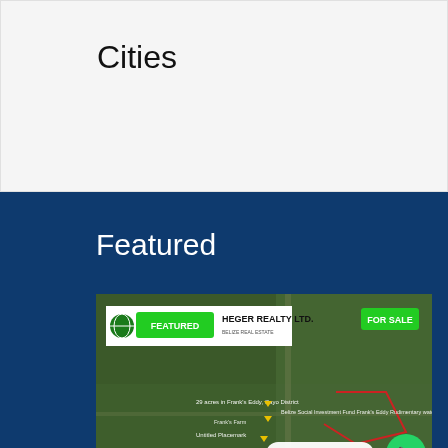Cities
Featured
[Figure (photo): Aerial satellite map view of a land parcel in Frank's Eddy, Cayo District, Belize. Shows property boundary in red, with labels for Belize Social Investment Fund and Frank's Eddy Rudimentary water system. Has FEATURED badge in green and FOR SALE badge in green. Logo bar shows HEGER REALTY LTD. Price shown: USD $200,000. Contact us button with WhatsApp icon visible.]